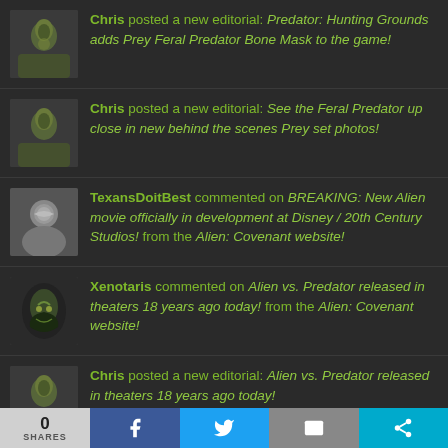Chris posted a new editorial: Predator: Hunting Grounds adds Prey Feral Predator Bone Mask to the game!
Chris posted a new editorial: See the Feral Predator up close in new behind the scenes Prey set photos!
TexansDoitBest commented on BREAKING: New Alien movie officially in development at Disney / 20th Century Studios! from the Alien: Covenant website!
Xenotaris commented on Alien vs. Predator released in theaters 18 years ago today! from the Alien: Covenant website!
Chris posted a new editorial: Alien vs. Predator released in theaters 18 years ago today!
Chris posted a new editorial: Prey (2022) creature designer explains why the Feral Predator subspecies looks so different!
BigDave commented on Alien TV Series: Scripts are...
0 SHARES